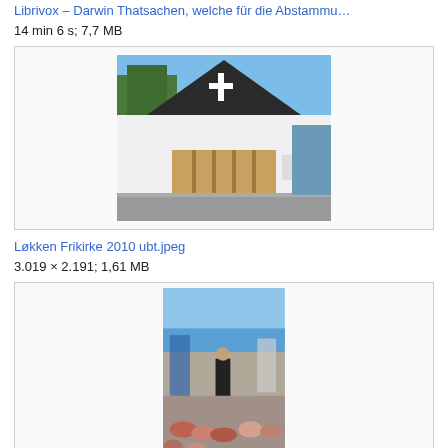Librivox – Darwin Thatsachen, welche für die Abstammu…
14 min 6 s; 7,7 MB
[Figure (photo): A white church building with a dark triangular roof and a cross on the facade, photographed from the street.]
Løkken Frikirke 2010 ubt.jpeg
3.019 × 2.191; 1,61 MB
[Figure (photo): A man dressed as Charles Darwin standing outdoors near the sea, with an audience seated around him.]
Man dressed as Charles Darwin during Lyme Regis Fos…